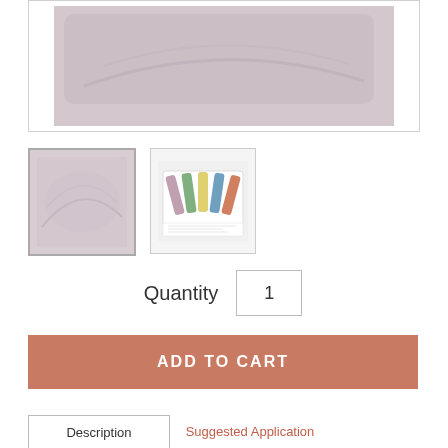[Figure (photo): Main product image showing a light mauve/pinkish-grey fabric or pillow case swatch]
[Figure (photo): Thumbnail 1: light mauve fabric swatch, selected/active state with border]
[Figure (photo): Thumbnail 2: color sample card showing multiple colored swatches]
Quantity  1
ADD TO CART
Description
Suggested Application